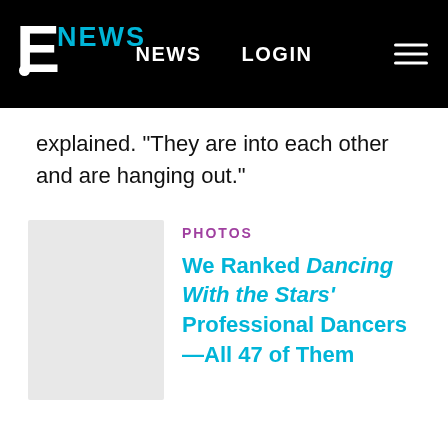E NEWS | NEWS | LOGIN
explained. "They are into each other and are hanging out."
PHOTOS
We Ranked Dancing With the Stars' Professional Dancers—All 47 of Them